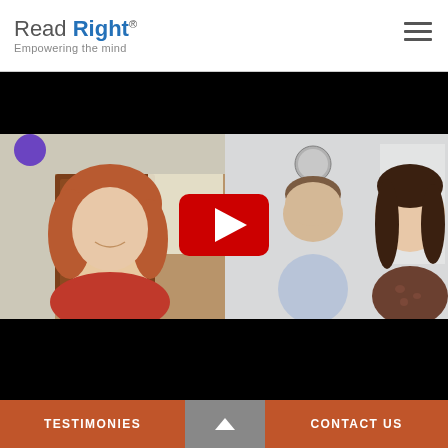Read Right® Empowering the mind
[Figure (screenshot): YouTube video player showing a video thumbnail with three people: a woman with red hair on the left in a red sweater in a home office setting, a young boy in the center-right, and a woman with dark hair on the far right. A YouTube play button overlay is visible in the center. The video player has black bars at top and bottom.]
TESTIMONIES    CONTACT US